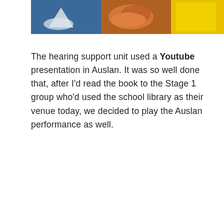[Figure (photo): A photograph showing objects on a table including what appears to be a shark, food items (corn/orange textured items), and a yellow object, with a blue background.]
The hearing support unit used a Youtube presentation in Auslan. It was so well done that, after I'd read the book to the Stage 1 group who'd used the school library as their venue today, we decided to play the Auslan performance as well.